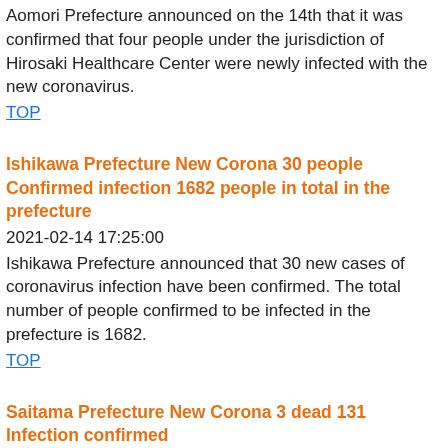Aomori Prefecture announced on the 14th that it was confirmed that four people under the jurisdiction of Hirosaki Healthcare Center were newly infected with the new coronavirus.
TOP
Ishikawa Prefecture New Corona 30 people Confirmed infection 1682 people in total in the prefecture
2021-02-14 17:25:00
Ishikawa Prefecture announced that 30 new cases of coronavirus infection have been confirmed. The total number of people confirmed to be infected in the prefecture is 1682.
TOP
Saitama Prefecture New Corona 3 dead 131 Infection confirmed
2021-02-14 17:24:00
On the 14th, it was announced that 131 new people were